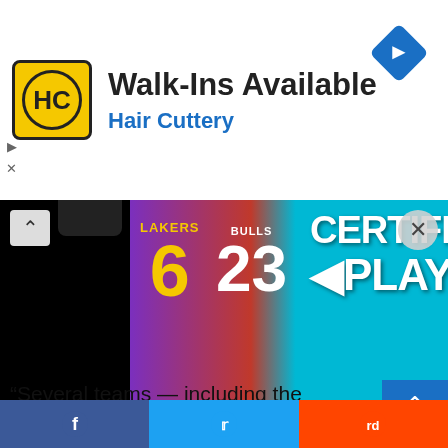[Figure (infographic): Hair Cuttery advertisement banner with yellow logo, 'Walk-Ins Available' headline, and blue navigation arrow icon]
[Figure (screenshot): Video banner showing NBA jerseys (Lakers #6 and Bulls) with 'CERTIFIED PLAYMAKER' text on teal background]
“Several teams — including the Warriors, Spurs and Minnesota Timberwolves — have discussed
[Figure (infographic): Social share bar with Facebook, Twitter, and Reddit buttons]